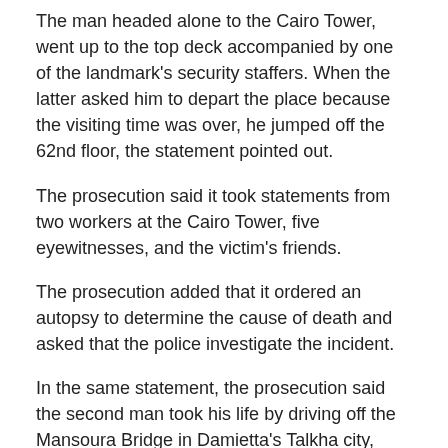The man headed alone to the Cairo Tower, went up to the top deck accompanied by one of the landmark's security staffers. When the latter asked him to depart the place because the visiting time was over, he jumped off the 62nd floor, the statement pointed out.
The prosecution said it took statements from two workers at the Cairo Tower, five eyewitnesses, and the victim's friends.
The prosecution added that it ordered an autopsy to determine the cause of death and asked that the police investigate the incident.
In the same statement, the prosecution said the second man took his life by driving off the Mansoura Bridge in Damietta's Talkha city, northeast of Cairo, due to distress over family disputes.
The victim left a farewell message on his Facebook